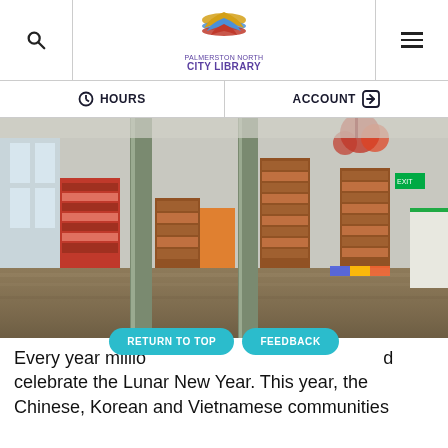Palmerston North City Library — HOURS | ACCOUNT
[Figure (photo): Interior of Palmerston North City Library showing book shelves, red display units, columns, a shiny floor, and colorful decorations including a red chandelier]
Every year millions of people around the world celebrate the Lunar New Year. This year, the Chinese, Korean and Vietnamese communities